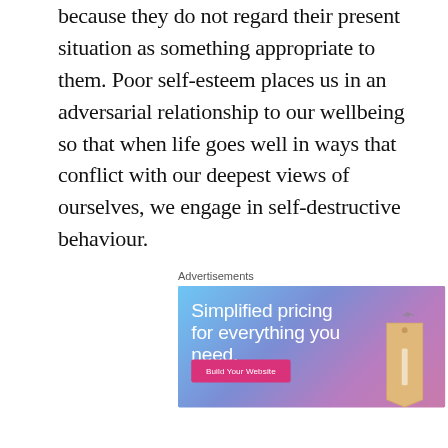because they do not regard their present situation as something appropriate to them. Poor self-esteem places us in an adversarial relationship to our wellbeing so that when life goes well in ways that conflict with our deepest views of ourselves, we engage in self-destructive behaviour.
Advertisements
[Figure (illustration): Advertisement banner with gradient blue-purple-pink background. Text reads 'Simplified pricing for everything you need.' with a pink 'Build Your Website' button and a wooden price tag graphic on the right.]